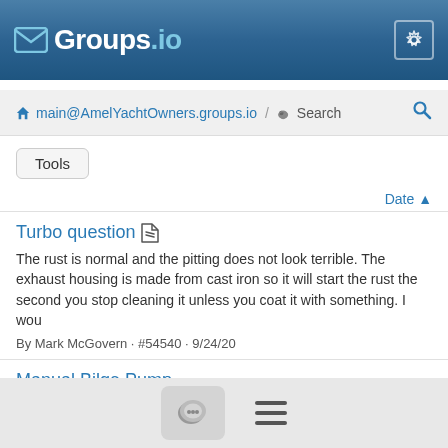[Figure (screenshot): Groups.io website header with logo (envelope icon and 'Groups.io' text) on blue gradient background, gear/settings icon on right]
main@AmelYachtOwners.groups.io / Search
Tools
Date ▲
Turbo question 📎
The rust is normal and the pitting does not look terrible. The exhaust housing is made from cast iron so it will start the rust the second you stop cleaning it unless you coat it with something. I wou
By Mark McGovern · #54540 · 9/24/20
Manual Bilge Pump
[Figure (screenshot): Bottom navigation toolbar with chat bubble icon button and hamburger menu icon]